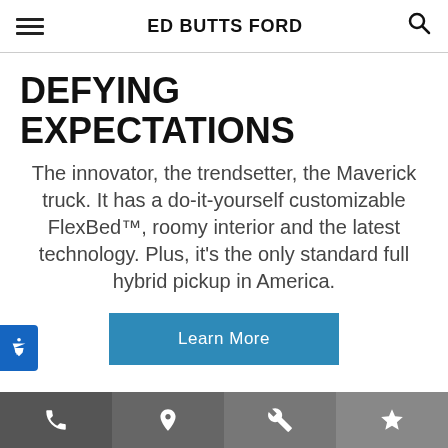ED BUTTS FORD
DEFYING EXPECTATIONS
The innovator, the trendsetter, the Maverick truck. It has a do-it-yourself customizable FlexBed™, roomy interior and the latest technology. Plus, it's the only standard full hybrid pickup in America.
Learn More
phone | location | tools | favorites